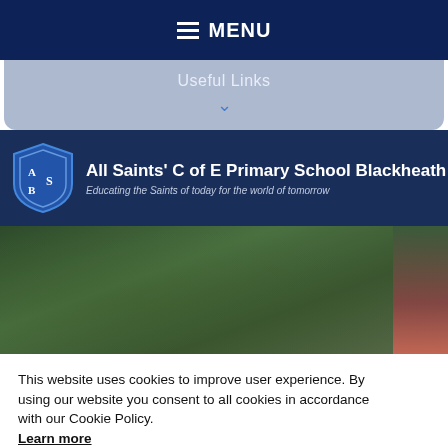MENU
Useful Links
All Saints' C of E Primary School Blackheath
Educating the Saints of today for the world of tomorrow
[Figure (photo): Forest/outdoor background photo]
This website uses cookies to improve user experience. By using our website you consent to all cookies in accordance with our Cookie Policy. Learn more
DECLINE
ACCEPT